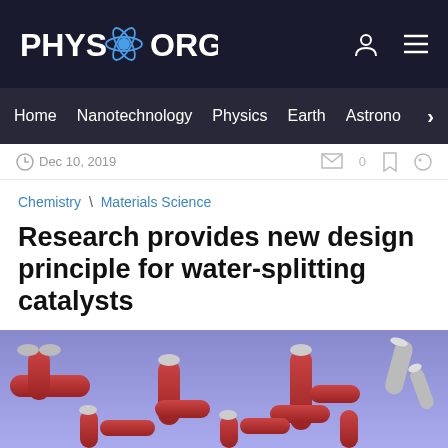PHYS.ORG
Home | Nanotechnology | Physics | Earth | Astronomy
Dec 10, 2019
Chemistry \ Materials Science
Research provides new design principle for water-splitting catalysts
by Kevin Stacey , Brown University
[Figure (illustration): 3D rendering of molecular/nanotube structures on a purple/blue background, showing red and grey cylindrical tube-like catalyst structures]